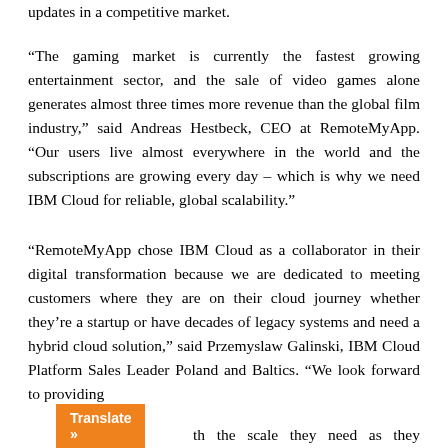updates in a competitive market.
“The gaming market is currently the fastest growing entertainment sector, and the sale of video games alone generates almost three times more revenue than the global film industry,” said Andreas Hestbeck, CEO at RemoteMyApp. “Our users live almost everywhere in the world and the subscriptions are growing every day – which is why we need IBM Cloud for reliable, global scalability.”
“RemoteMyApp chose IBM Cloud as a collaborator in their digital transformation because we are dedicated to meeting customers where they are on their cloud journey whether they’re a startup or have decades of legacy systems and need a hybrid cloud solution,” said Przemyslaw Galinski, IBM Cloud Platform Sales Leader Poland and Baltics. “We look forward to providing th the scale they need as they mature in